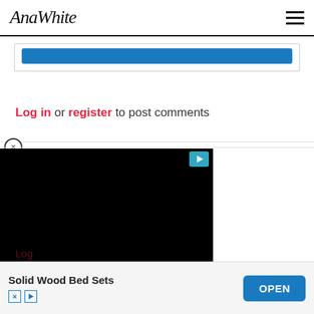AnaWhite
[Figure (screenshot): Blue button/bar inside a bordered box at top of content area]
Log in or register to post comments
[Figure (screenshot): Black video player with teal play button icon in upper right corner]
? I did not see it.
Solid Wood Bed Sets
[Figure (screenshot): Ad banner with OPEN button]